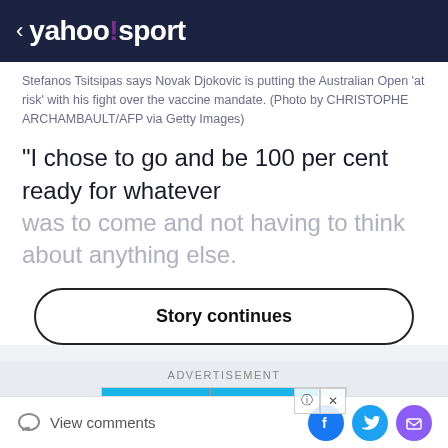< yahoo!sport
Stefanos Tsitsipas says Novak Djokovic is putting the Australian Open 'at risk' with his fight over the vaccine mandate. (Photo by CHRISTOPHE ARCHAMBAULT/AFP via Getty Images)
“I chose to go and be 100 per cent ready for whatever was to come and not having to think about anything else.
Story continues
ADVERTISEMENT
[Figure (screenshot): Advertisement showing a mobile game with +20 and x3 bonus indicators over a bowling lane scene]
View comments